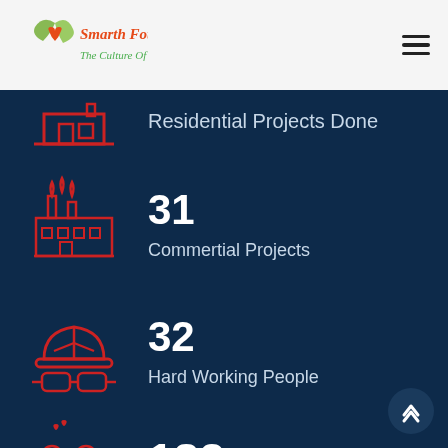[Figure (logo): Smarth Foundation - The Culture of Care logo with leaf/heart icon in green and orange]
Residential Projects Done
[Figure (illustration): Red outline icon of a factory/industrial building with smoke]
31
Commertial Projects
[Figure (illustration): Red outline icon of a hard hat and safety goggles]
32
Hard Working People
[Figure (illustration): Red outline icon of two people with hearts above them]
182